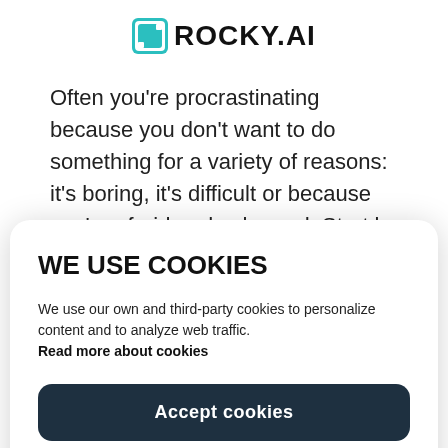ROCKY.AI
Often you're procrastinating because you don't want to do something for a variety of reasons: it's boring, it's difficult or because you're afraid and ashamed. Start by identifying why you're
WE USE COOKIES
We use our own and third-party cookies to personalize content and to analyze web traffic. Read more about cookies
Accept cookies
Reject